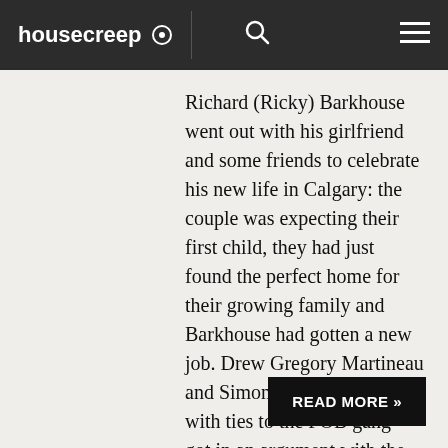housecreep
Richard (Ricky) Barkhouse went out with his girlfriend and some friends to celebrate his new life in Calgary: the couple was expecting their first child, they had just found the perfect home for their growing family and Barkhouse had gotten a new job. Drew Gregory Martineau and Simon Yuen — two men with ties to the FOB gang — got in an argument with the Nova Scotia native outside The Roadhouse bar on Jan. 23, 2006 and stabbed him to death. Both men pleaded guilty to the lesser offence of mansla...
READ MORE »